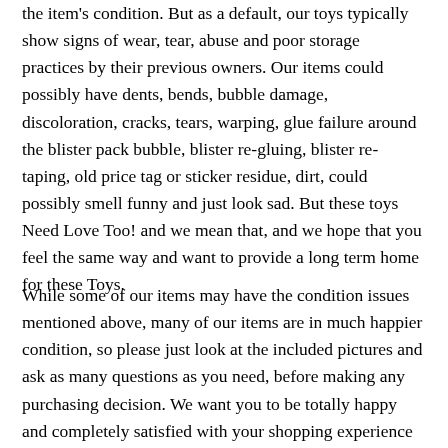the item's condition. But as a default, our toys typically show signs of wear, tear, abuse and poor storage practices by their previous owners. Our items could possibly have dents, bends, bubble damage, discoloration, cracks, tears, warping, glue failure around the blister pack bubble, blister re-gluing, blister re-taping, old price tag or sticker residue, dirt, could possibly smell funny and just look sad. But these toys Need Love Too! and we mean that, and we hope that you feel the same way and want to provide a long term home for these Toys.
While some of our items may have the condition issues mentioned above, many of our items are in much happier condition, so please just look at the included pictures and ask as many questions as you need, before making any purchasing decision. We want you to be totally happy and completely satisfied with your shopping experience with us, and we want you to love your item(s). Please work with us